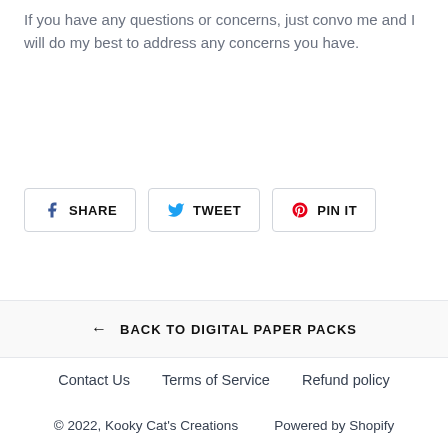If you have any questions or concerns, just convo me and I will do my best to address any concerns you have.
[Figure (other): Social sharing buttons: Facebook Share, Twitter Tweet, Pinterest Pin It]
← BACK TO DIGITAL PAPER PACKS
Contact Us   Terms of Service   Refund policy
© 2022, Kooky Cat's Creations    Powered by Shopify